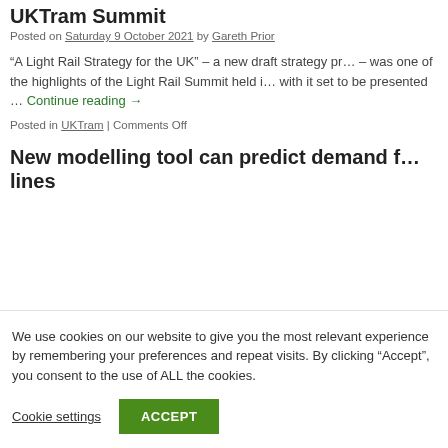New draft strategy for light rail in the UK – UKTram Summit
Posted on Saturday 9 October 2021 by Gareth Prior
“A Light Rail Strategy for the UK” – a new draft strategy presented – was one of the highlights of the Light Rail Summit held in … with it set to be presented … Continue reading →
Posted in UKTram | Comments Off
New modelling tool can predict demand for lines
We use cookies on our website to give you the most relevant experience by remembering your preferences and repeat visits. By clicking “Accept”, you consent to the use of ALL the cookies.